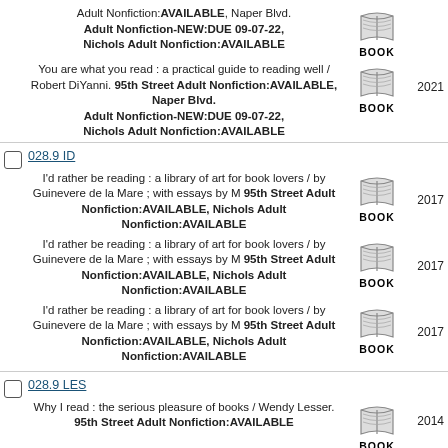You are what you read : a practical guide to reading well / Robert DiYanni. 95th Street Adult Nonfiction:AVAILABLE, Naper Blvd. Adult Nonfiction-NEW:DUE 09-07-22, Nichols Adult Nonfiction:AVAILABLE
028.9 ID
I'd rather be reading : a library of art for book lovers / by Guinevere de la Mare ; with essays by M 95th Street Adult Nonfiction:AVAILABLE, Nichols Adult Nonfiction:AVAILABLE
I'd rather be reading : a library of art for book lovers / by Guinevere de la Mare ; with essays by M 95th Street Adult Nonfiction:AVAILABLE, Nichols Adult Nonfiction:AVAILABLE
I'd rather be reading : a library of art for book lovers / by Guinevere de la Mare ; with essays by M 95th Street Adult Nonfiction:AVAILABLE, Nichols Adult Nonfiction:AVAILABLE
028.9 LES
Why I read : the serious pleasure of books / Wendy Lesser. 95th Street Adult Nonfiction:AVAILABLE
Why I read : the serious pleasure of books / Wendy Lesser. 95th Street Adult Nonfiction:AVAILABLE
028.9 MAN
When books went to war : the stories that helped us win World War II / Molly Guptill Manning. Naper Blvd. Adult